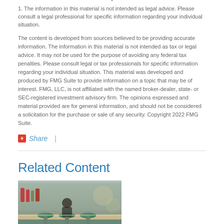1. The information in this material is not intended as legal advice. Please consult a legal professional for specific information regarding your individual situation.
The content is developed from sources believed to be providing accurate information. The information in this material is not intended as tax or legal advice. It may not be used for the purpose of avoiding any federal tax penalties. Please consult legal or tax professionals for specific information regarding your individual situation. This material was developed and produced by FMG Suite to provide information on a topic that may be of interest. FMG, LLC, is not affiliated with the named broker-dealer, state- or SEC-registered investment advisory firm. The opinions expressed and material provided are for general information, and should not be considered a solicitation for the purchase or sale of any security. Copyright 2022 FMG Suite.
Share  |
Related Content
[Figure (photo): Photo of a retro diner with green bar stools and counter seating]